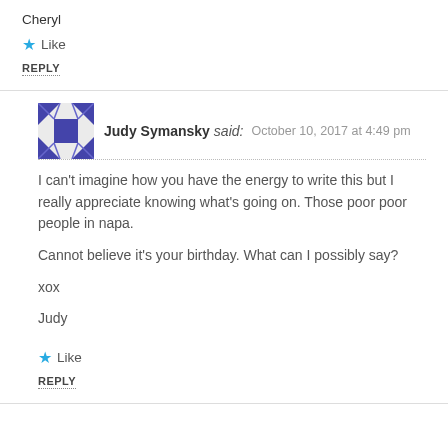Cheryl
Like
REPLY
Judy Symansky said: October 10, 2017 at 4:49 pm
I can’t imagine how you have the energy to write this but I really appreciate knowing what’s going on. Those poor poor people in napa.

Cannot believe it’s your birthday. What can I possibly say?

xox

Judy
Like
REPLY